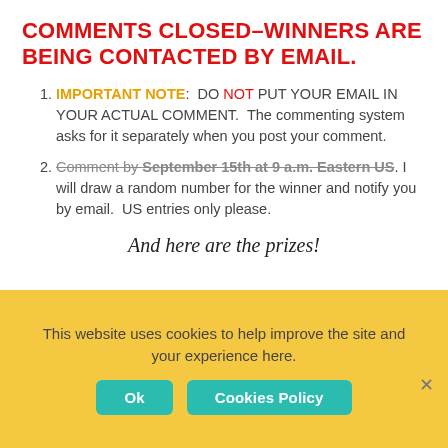COMMENTS CLOSED–WINNERS ARE BEING CONTACTED BY EMAIL.
IMPORTANT NOTE: DO NOT PUT YOUR EMAIL IN YOUR ACTUAL COMMENT. The commenting system asks for it separately when you post your comment.
Comment by September 15th at 9 a.m. Eastern US. I will draw a random number for the winner and notify you by email. US entries only please.
And here are the prizes!
This website uses cookies to help improve the site and your experience here.